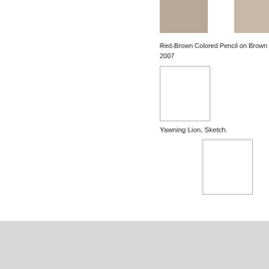[Figure (illustration): Partial view of a sketch/drawing, top left of two artwork thumbnails]
[Figure (illustration): Partial view of a second sketch/drawing thumbnail on the right]
Red-Brown Colored Pencil on Brown
2007
[Figure (illustration): White/blank square image placeholder with gray border - artwork thumbnail]
Yawning Lion, Sketch.
[Figure (illustration): White/blank square image placeholder with gray border - second artwork thumbnail]
The artist, like the idiot or clown, sits on the edge of the world, and a
www.digication.com  Terms of Use  |  Privacy
Platform provided by Digication, Inc. Copyright ©
Loading [MathJax]/extensions/mml2jax.js